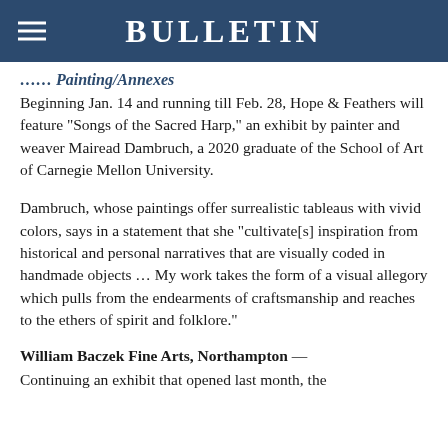BULLETIN
…… Painting/Annexes
Beginning Jan. 14 and running till Feb. 28, Hope & Feathers will feature “Songs of the Sacred Harp,” an exhibit by painter and weaver Mairead Dambruch, a 2020 graduate of the School of Art of Carnegie Mellon University.
Dambruch, whose paintings offer surrealistic tableaus with vivid colors, says in a statement that she “cultivate[s] inspiration from historical and personal narratives that are visually coded in handmade objects … My work takes the form of a visual allegory which pulls from the endearments of craftsmanship and reaches to the ethers of spirit and folklore.”
William Baczek Fine Arts, Northampton —
Continuing an exhibit that opened last month, the